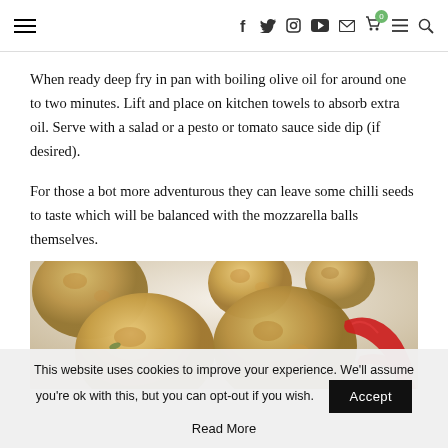≡  f  🐦  📷  ▶  ✉  🛒0  ≡  🔍
When ready deep fry in pan with boiling olive oil for around one to two minutes. Lift and place on kitchen towels to absorb extra oil. Serve with a salad or a pesto or tomato sauce side dip (if desired).

For those a bot more adventurous they can leave some chilli seeds to taste which will be balanced with the mozzarella balls themselves.
[Figure (photo): Fried breaded mozzarella balls on a white surface with two red chilli peppers]
This website uses cookies to improve your experience. We'll assume you're ok with this, but you can opt-out if you wish.  Accept
Read More